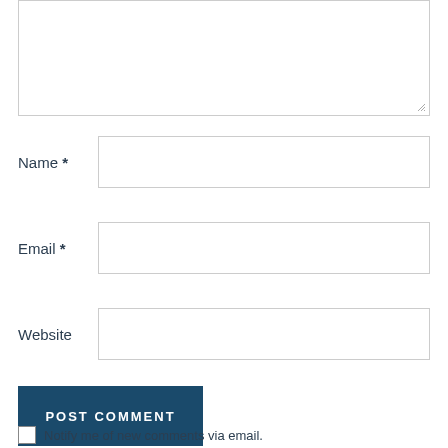[Figure (screenshot): Comment form textarea (top portion, cropped), showing a large empty text input area with a resize handle at the bottom right.]
Name *
Email *
Website
POST COMMENT
Notify me of new comments via email.